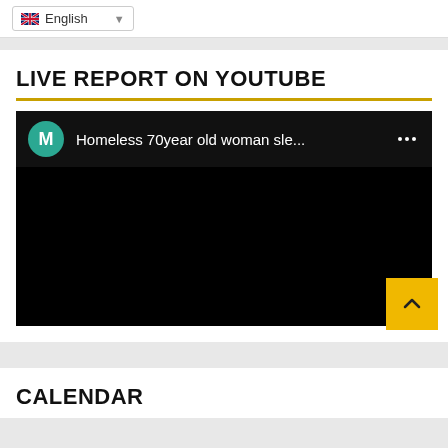English
LIVE REPORT ON YOUTUBE
[Figure (screenshot): YouTube embed showing a video titled 'Homeless 70year old woman sle...' with a teal avatar showing the letter M, on a black background]
CALENDAR